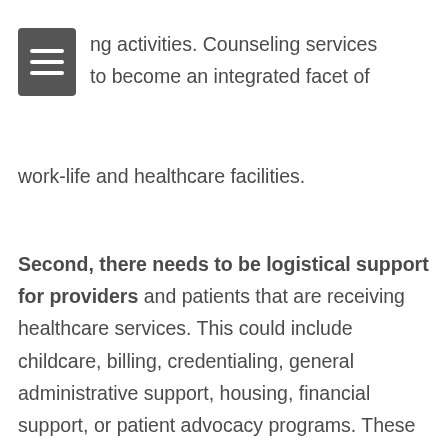ng activities. Counseling services to become an integrated facet of work-life and healthcare facilities.
Second, there needs to be logistical support for providers and patients that are receiving healthcare services. This could include childcare, billing, credentialing, general administrative support, housing, financial support, or patient advocacy programs. These kinds of support structures help clinicians and patients wade through the sea of concrete that makes up the